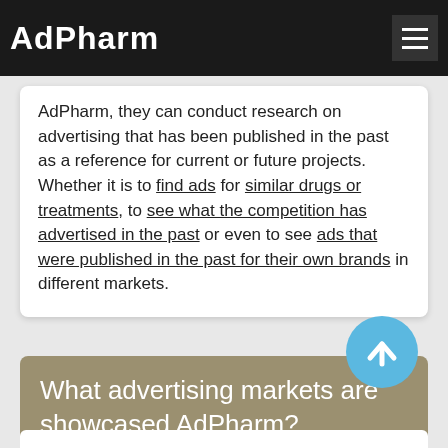AdPharm
AdPharm, they can conduct research on advertising that has been published in the past as a reference for current or future projects. Whether it is to find ads for similar drugs or treatments, to see what the competition has advertised in the past or even to see ads that were published in the past for their own brands in different markets.
What advertising markets are showcased AdPharm?